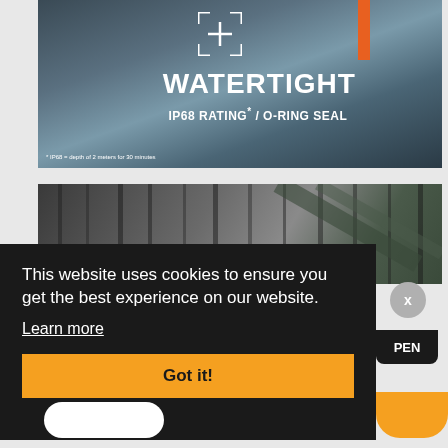[Figure (photo): Product photo showing a device submerged in water splash with text overlay: bracket/crosshair icon, WATERTIGHT in bold white, IP68 RATING* / O-RING SEAL, footnote: * IP68 = depth of 2 meters for 30 minutes. Orange vertical bar element visible.]
[Figure (photo): Close-up photo of a tire tread pattern on dark surface.]
This website uses cookies to ensure you get the best experience on our website.
Learn more
Got it!